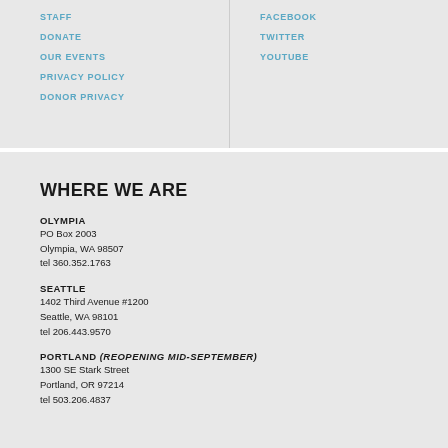STAFF
DONATE
OUR EVENTS
PRIVACY POLICY
DONOR PRIVACY
FACEBOOK
TWITTER
YOUTUBE
WHERE WE ARE
OLYMPIA
PO Box 2003
Olympia, WA 98507
tel 360.352.1763
SEATTLE
1402 Third Avenue #1200
Seattle, WA 98101
tel 206.443.9570
PORTLAND (reopening mid-September)
1300 SE Stark Street
Portland, OR 97214
tel 503.206.4837